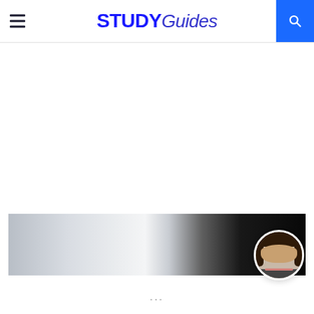STUDY Guides
[Figure (photo): Wide banner photo showing a gradient from light grey/white on the left transitioning to dark/black on the right, resembling a dramatic sky or abstract background]
[Figure (photo): Circular avatar photo of a young woman with dark hair, smiling, wearing a dark top]